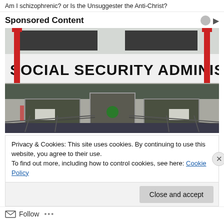Am I schizophrenic? or Is the Unsuggester the Anti-Christ?
Sponsored Content
[Figure (photo): Photograph of a Social Security Administration building entrance with the sign 'SOCIAL SECURITY ADMINISTRATION' prominently displayed above the doors, with a ramp and railings in the foreground.]
Privacy & Cookies: This site uses cookies. By continuing to use this website, you agree to their use.
To find out more, including how to control cookies, see here: Cookie Policy
Close and accept
Follow